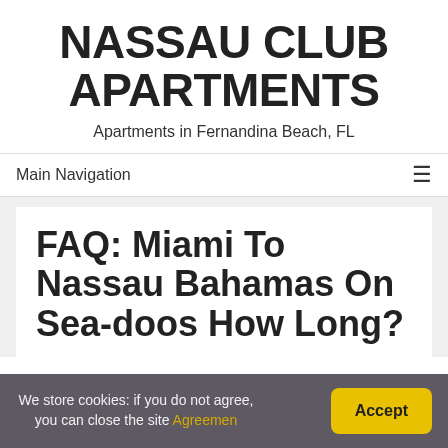NASSAU CLUB APARTMENTS
Apartments in Fernandina Beach, FL
Main Navigation
FAQ: Miami To Nassau Bahamas On Sea-doos How Long?
We store cookies: if you do not agree, you can close the site Agreemen Accept